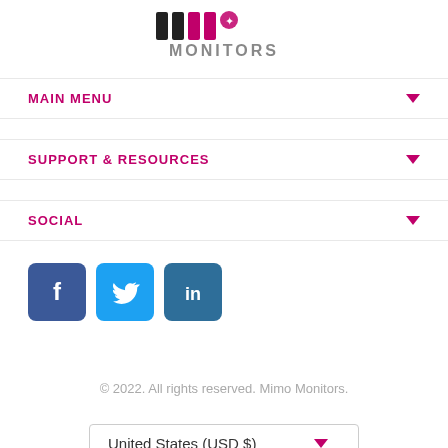[Figure (logo): Mimo Monitors logo with stylized text 'mimo' in black and pink, and 'MONITORS' in gray below]
MAIN MENU
SUPPORT & RESOURCES
SOCIAL
[Figure (illustration): Social media icons: Facebook (blue), Twitter (light blue), LinkedIn (dark blue)]
© 2022. All rights reserved. Mimo Monitors.
United States (USD $)